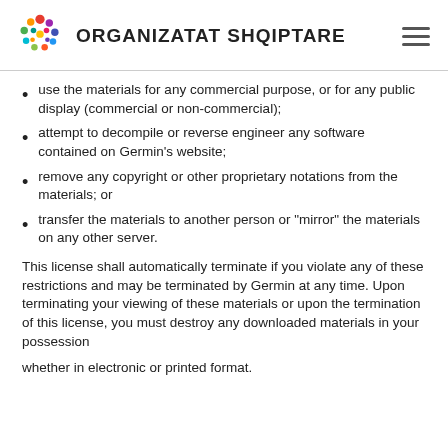ORGANIZATAT SHQIPTARE
use the materials for any commercial purpose, or for any public display (commercial or non-commercial);
attempt to decompile or reverse engineer any software contained on Germin's website;
remove any copyright or other proprietary notations from the materials; or
transfer the materials to another person or "mirror" the materials on any other server.
This license shall automatically terminate if you violate any of these restrictions and may be terminated by Germin at any time. Upon terminating your viewing of these materials or upon the termination of this license, you must destroy any downloaded materials in your possession
whether in electronic or printed format.